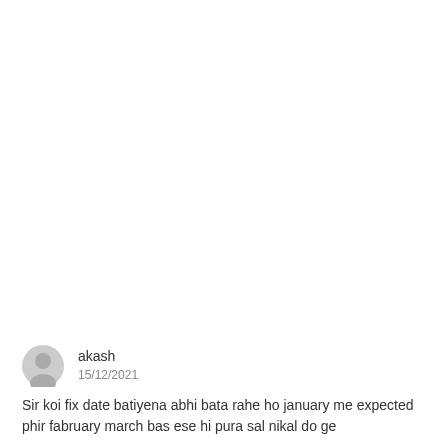[Figure (illustration): Generic user avatar icon — gray silhouette of a person on light gray circular background]
akash
15/12/2021
Sir koi fix date batiyena abhi bata rahe ho january me expected phir fabruary march bas ese hi pura sal nikal do ge